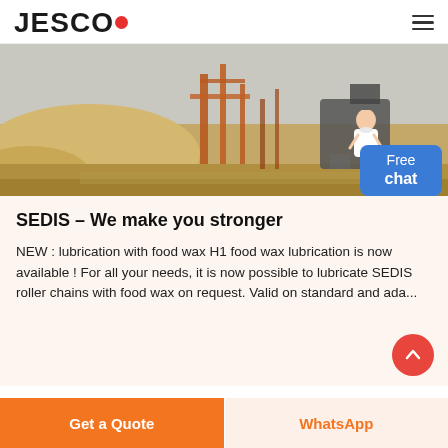JESCO
[Figure (photo): Industrial construction site with sand/gravel mounds, orange crane structures, and heavy machinery in the background. A customer service representative figure appears in the bottom right with a 'Free chat' button overlay.]
SEDIS – We make you stronger
NEW : lubrication with food wax H1 food wax lubrication is now available ! For all your needs, it is now possible to lubricate SEDIS roller chains with food wax on request. Valid on standard and ada...
Get a Quote
WhatsApp